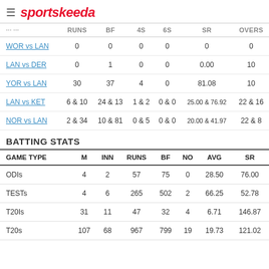sportskeeda
| MATCH | RUNS | BF | 4S | 6S | SR | OVERS |
| --- | --- | --- | --- | --- | --- | --- |
| WOR vs LAN | 0 | 0 | 0 | 0 | 0 | 0 |
| LAN vs DER | 0 | 1 | 0 | 0 | 0.00 | 10 |
| YOR vs LAN | 30 | 37 | 4 | 0 | 81.08 | 10 |
| LAN vs KET | 6 & 10 | 24 & 13 | 1 & 2 | 0 & 0 | 25.00 & 76.92 | 22 & 16 |
| NOR vs LAN | 2 & 34 | 10 & 81 | 0 & 5 | 0 & 0 | 20.00 & 41.97 | 22 & 8 |
BATTING STATS
| GAME TYPE | M | INN | RUNS | BF | NO | AVG | SR |
| --- | --- | --- | --- | --- | --- | --- | --- |
| ODIs | 4 | 2 | 57 | 75 | 0 | 28.50 | 76.00 |
| TESTs | 4 | 6 | 265 | 502 | 2 | 66.25 | 52.78 |
| T20Is | 31 | 11 | 47 | 32 | 4 | 6.71 | 146.87 |
| T20s | 107 | 68 | 967 | 799 | 19 | 19.73 | 121.02 |